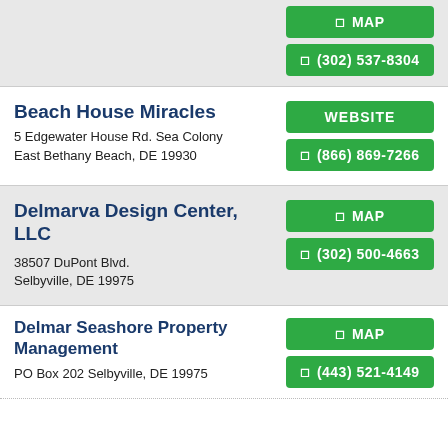MAP | (302) 537-8304
Beach House Miracles
5 Edgewater House Rd.  Sea Colony East Bethany Beach, DE 19930
WEBSITE | (866) 869-7266
Delmarva Design Center, LLC
38507 DuPont Blvd.
Selbyville, DE 19975
MAP | (302) 500-4663
Delmar Seashore Property Management
PO Box 202 Selbyville, DE 19975
MAP | (443) 521-4149